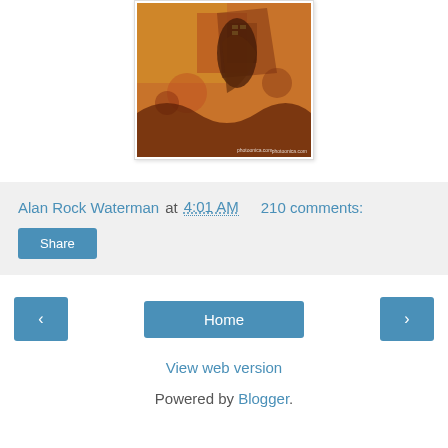[Figure (photo): A stylized reddish-orange illustration or photo with action figures, buildings, and crowd scene. Watermark reads 'photoonica.com']
Alan Rock Waterman at 4:01 AM    210 comments:
Share
‹
Home
›
View web version
Powered by Blogger.